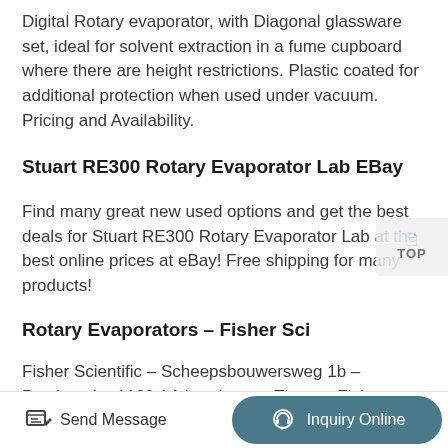Digital Rotary evaporator, with Diagonal glassware set, ideal for solvent extraction in a fume cupboard where there are height restrictions. Plastic coated for additional protection when used under vacuum. Pricing and Availability.
Stuart RE300 Rotary Evaporator Lab EBay
Find many great new used options and get the best deals for Stuart RE300 Rotary Evaporator Lab at the best online prices at eBay! Free shipping for many products!
Rotary Evaporators – Fisher Sci
Fisher Scientific – Scheepsbouwersweg 1b – Postbus 4 – 1120 AA Landsmeer Thermo Fisher Scientific Inc.
Send Message    Inquiry Online